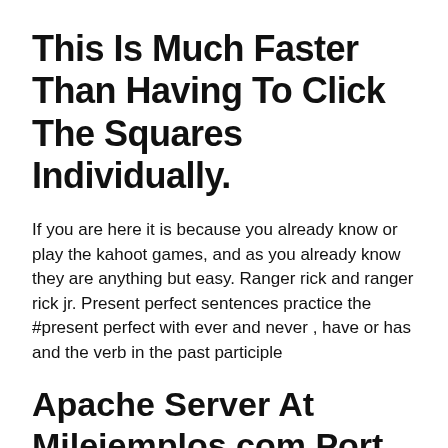This Is Much Faster Than Having To Click The Squares Individually.
If you are here it is because you already know or play the kahoot games, and as you already know they are anything but easy. Ranger rick and ranger rick jr. Present perfect sentences practice the #present perfect with ever and never , have or has and the verb in the past participle
Apache Server At Milejemplos.com Port 443
Present simple #elementary#adults #elementary #adults. My town (4th graders) kahoot 10 for 4th level. So do you add that and it interactive have or